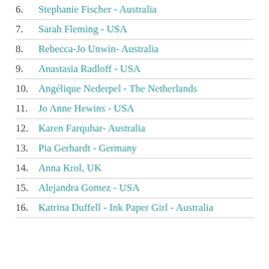6.  Stephanie Fischer - Australia
7.  Sarah Fleming - USA
8.  Rebecca-Jo Unwin- Australia
9.  Anastasia Radloff - USA
10.  Angélique Nederpel - The Netherlands
11.  Jo Anne Hewins - USA
12.  Karen Farquhar- Australia
13.  Pia Gerhardt - Germany
14.  Anna Krol, UK
15.  Alejandra Gomez - USA
16.  Katrina Duffell - Ink Paper Girl - Australia